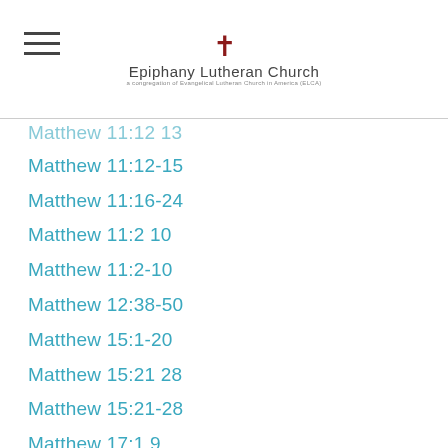Epiphany Lutheran Church
Matthew 11:12 13
Matthew 11:12-15
Matthew 11:16-24
Matthew 11:2 10
Matthew 11:2-10
Matthew 12:38-50
Matthew 15:1-20
Matthew 15:21 28
Matthew 15:21-28
Matthew 17:1 9
Matthew 17:1-9
Matthew 18:21 35
Matthew 18:21-35
Matthew 20:1 16
Matthew 20:1-16
Matthew 20:17-28
Matthew 2:1 12
Matthew 2:1-12